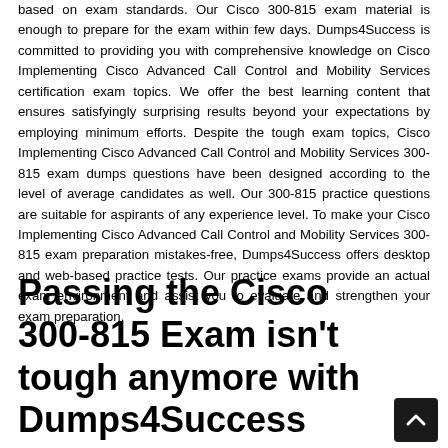based on exam standards. Our Cisco 300-815 exam material is enough to prepare for the exam within few days. Dumps4Success is committed to providing you with comprehensive knowledge on Cisco Implementing Cisco Advanced Call Control and Mobility Services certification exam topics. We offer the best learning content that ensures satisfyingly surprising results beyond your expectations by employing minimum efforts. Despite the tough exam topics, Cisco Implementing Cisco Advanced Call Control and Mobility Services 300-815 exam dumps questions have been designed according to the level of average candidates as well. Our 300-815 practice questions are suitable for aspirants of any experience level. To make your Cisco Implementing Cisco Advanced Call Control and Mobility Services 300-815 exam preparation mistakes-free, Dumps4Success offers desktop and web-based practice tests. Our practice exams provide an actual exam environment and assist you to evaluate and strengthen your exam preparation.
Passing the Cisco 300-815 Exam isn't tough anymore with Dumps4Success